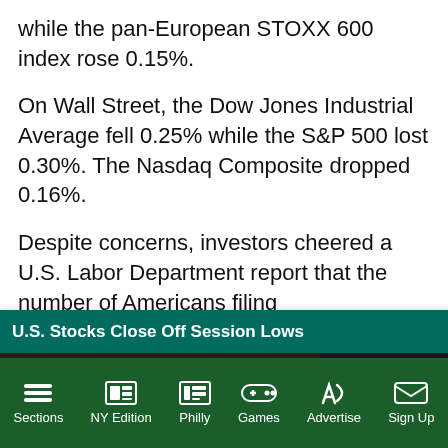while the pan-European STOXX 600 index rose 0.15%.
On Wall Street, the Dow Jones Industrial Average fell 0.25% while the S&P 500 lost 0.30%. The Nasdaq Composite dropped 0.16%.
Despite concerns, investors cheered a U.S. Labor Department report that the number of Americans filing for new unemployment claims dropped to a seasonally ... ing up to Christmas, ... lier. Economists ... eekly applications
[Figure (screenshot): Video popup overlay titled 'U.S. Stocks Close Off Session Lows' showing a trader on a stock exchange floor with a mute icon and close button]
Sections | NY Edition | Philly | Games | Advertise | Sign Up